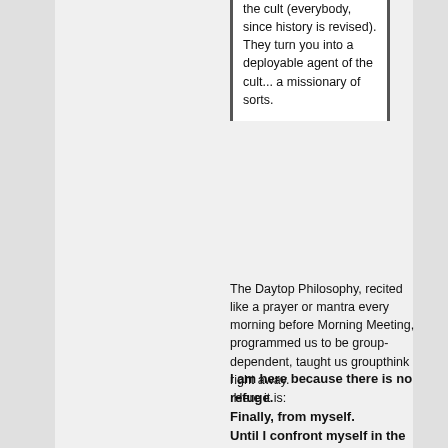the cult (everybody, since history is revised). They turn you into a deployable agent of the cult... a missionary of sorts.
The Daytop Philosophy, recited like a prayer or mantra every morning before Morning Meeting, programmed us to be group-dependent, taught us groupthink  right away.  Here it is:
I am here because there is no refuge. Finally, from myself. Until I confront myself in the eyes and hearts of others, I am running. Until I suffer them to share my secrets